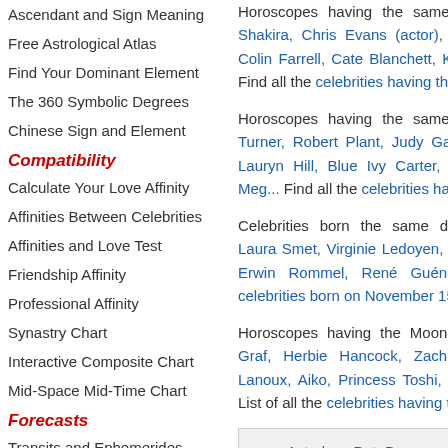Ascendant and Sign Meaning
Free Astrological Atlas
Find Your Dominant Element
The 360 Symbolic Degrees
Chinese Sign and Element
Compatibility
Calculate Your Love Affinity
Affinities Between Celebrities
Affinities and Love Test
Friendship Affinity
Professional Affinity
Synastry Chart
Interactive Composite Chart
Mid-Space Mid-Time Chart
Forecasts
Transits and Ephemerides
Free Solar Revolution
Secondary Directions
Horoscopes having the same as Shakira, Chris Evans (actor), Gr Colin Farrell, Cate Blanchett, Kes Find all the celebrities having this
Horoscopes having the same a Turner, Robert Plant, Judy Garla Lauryn Hill, Blue Ivy Carter, Pri Meg... Find all the celebrities havi
Celebrities born the same day: Laura Smet, Virginie Ledoyen, Ch Erwin Rommel, René Guénon, celebrities born on November 15.
Horoscopes having the Moon in Graf, Herbie Hancock, Zachary Lanoux, Aiko, Princess Toshi, De List of all the celebrities having the
| Astrology DataBase |
| 62,313 people and events |
| Search by filters, as |
| Celebrities clicke |